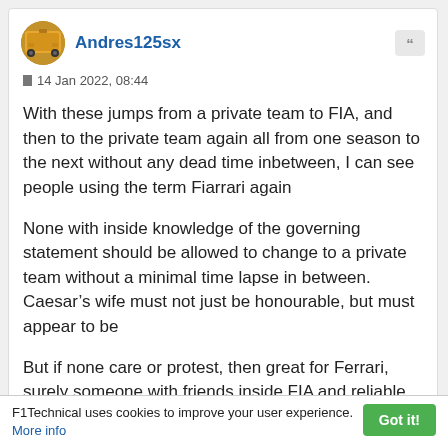Andres125sx
14 Jan 2022, 08:44
With these jumps from a private team to FIA, and then to the private team again all from one season to the next without any dead time inbetween, I can see people using the term Fiarrari again
None with inside knowledge of the governing statement should be allowed to change to a private team without a minimal time lapse in between. Caesar’s wife must not just be honourable, but must appear to be
But if none care or protest, then great for Ferrari, surely someone with friends inside FIA and reliable knowledge about what they know and they don´t will be good for the
F1Technical uses cookies to improve your user experience.
More info